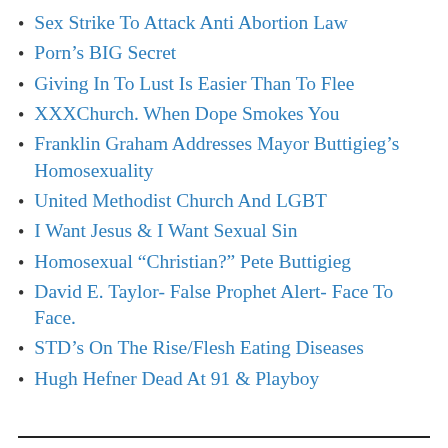Sex Strike To Attack Anti Abortion Law
Porn’s BIG Secret
Giving In To Lust Is Easier Than To Flee
XXXChurch. When Dope Smokes You
Franklin Graham Addresses Mayor Buttigieg’s Homosexuality
United Methodist Church And LGBT
I Want Jesus & I Want Sexual Sin
Homosexual “Christian?” Pete Buttigieg
David E. Taylor- False Prophet Alert- Face To Face.
STD’s On The Rise/Flesh Eating Diseases
Hugh Hefner Dead At 91 & Playboy